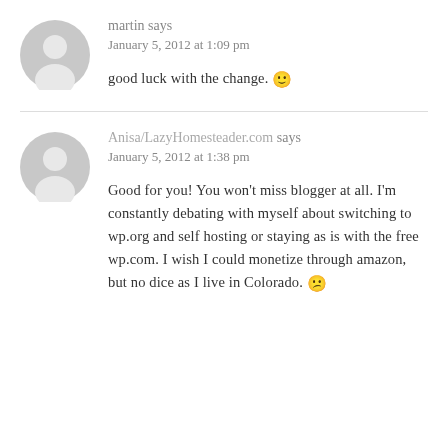martin says
January 5, 2012 at 1:09 pm
good luck with the change. 🙂
Anisa/LazyHomesteader.com says
January 5, 2012 at 1:38 pm
Good for you! You won't miss blogger at all. I'm constantly debating with myself about switching to wp.org and self hosting or staying as is with the free wp.com. I wish I could monetize through amazon, but no dice as I live in Colorado. 😕